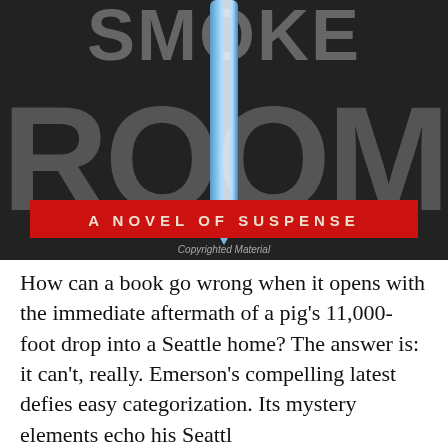[Figure (photo): Book cover showing large text 'SMOKE ROOM' with a subtitle 'A NOVEL OF SUSPENSE' on a dark background with a blue cylindrical object. Text 'Copyrighted Material' appears in small print.]
How can a book go wrong when it opens with the immediate aftermath of a pig's 11,000-foot drop into a Seattle home? The answer is: it can't, really. Emerson's compelling latest defies easy categorization. Its mystery elements echo his Seattle [redacted] suspe[redacted]that